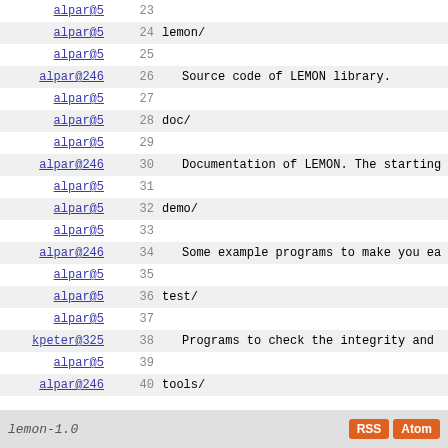| Author | Rev | Content |
| --- | --- | --- |
| alpar@5 | 23 |  |
| alpar@5 | 24 | lemon/ |
| alpar@5 | 25 |  |
| alpar@246 | 26 |     Source code of LEMON library. |
| alpar@5 | 27 |  |
| alpar@5 | 28 | doc/ |
| alpar@5 | 29 |  |
| alpar@246 | 30 |     Documentation of LEMON. The starting |
| alpar@5 | 31 |  |
| alpar@5 | 32 | demo/ |
| alpar@5 | 33 |  |
| alpar@246 | 34 |     Some example programs to make you ea |
| alpar@5 | 35 |  |
| alpar@5 | 36 | test/ |
| alpar@5 | 37 |  |
| kpeter@325 | 38 |     Programs to check the integrity and |
| alpar@5 | 39 |  |
| alpar@246 | 40 | tools/ |
| alpar@246 | 41 |  |
| alpar@246 | 42 |     Various utilities related to LEMON. |
lemon-1.0    RSS  Atom